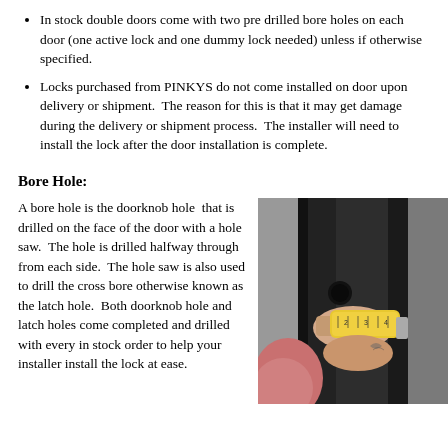In stock double doors come with two pre drilled bore holes on each door (one active lock and one dummy lock needed) unless if otherwise specified.
Locks purchased from PINKYS do not come installed on door upon delivery or shipment.  The reason for this is that it may get damage during the delivery or shipment process.  The installer will need to install the lock after the door installation is complete.
Bore Hole:
A bore hole is the doorknob hole  that is drilled on the face of the door with a hole saw.  The hole is drilled halfway through from each side.  The hole saw is also used to drill the cross bore otherwise known as the latch hole.  Both doorknob hole and latch holes come completed and drilled with every in stock order to help your installer install the lock at ease.
[Figure (photo): A person using a tape measure on a dark door frame, measuring the bore hole location. The person has a tattoo on their wrist and is wearing a pink shirt in the background.]